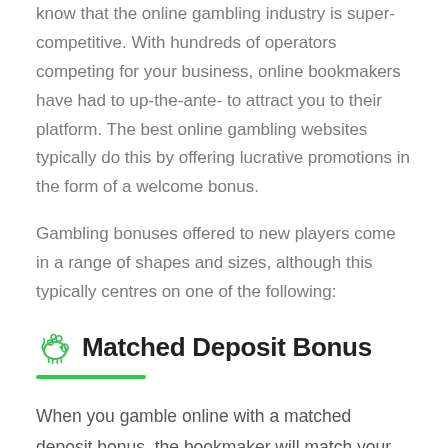know that the online gambling industry is super-competitive. With hundreds of operators competing for your business, online bookmakers have had to up-the-ante- to attract you to their platform. The best online gambling websites typically do this by offering lucrative promotions in the form of a welcome bonus.
Gambling bonuses offered to new players come in a range of shapes and sizes, although this typically centres on one of the following:
Matched Deposit Bonus
When you gamble online with a matched deposit bonus, the bookmaker will match your first deposit by a certain